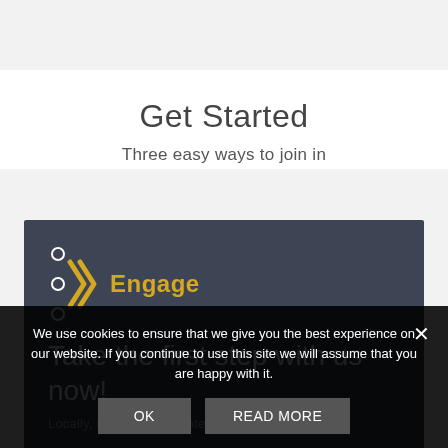Get Started
Three easy ways to join in
[Figure (infographic): Dark grey card with Engage logo (arrow icon and yellow 'Engage' label) and headline text 'Take the first step with us now!']
We use cookies to ensure that we give you the best experience on our website. If you continue to use this site we will assume that you are happy with it.